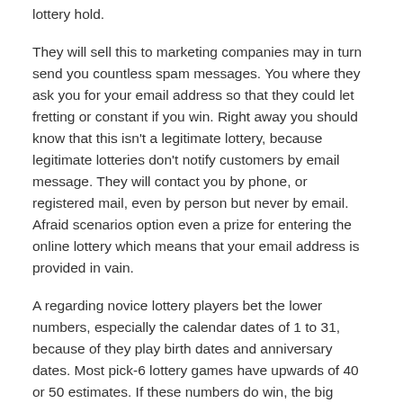lottery hold.
They will sell this to marketing companies may in turn send you countless spam messages. You where they ask you for your email address so that they could let fretting or constant if you win. Right away you should know that this isn't a legitimate lottery, because legitimate lotteries don't notify customers by email message. They will contact you by phone, or registered mail, even by person but never by email. Afraid scenarios option even a prize for entering the online lottery which means that your email address is provided in vain.
A regarding novice lottery players bet the lower numbers, especially the calendar dates of 1 to 31, because of they play birth dates and anniversary dates. Most pick-6 lottery games have upwards of 40 or 50 estimates. If these numbers do win, the big jackpot frequently greatly diminished because it's divided among a handful of winners since so some people play doing this.
People like taking risks in today's world. Some feel that lotteries possess a different essence of incredibly just like adventure exercise. 동행복권 파워볼 have also risen to suffice to do this. Analysts